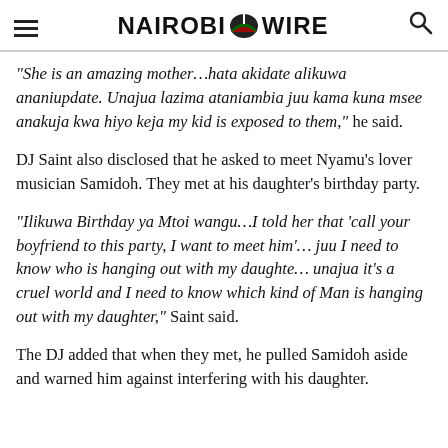Nairobi Wire
“She is an amazing mother…hata akidate alikuwa ananiupdate. Unajua lazima ataniambia juu kama kuna msee anakuja kwa hiyo keja my kid is exposed to them,” he said.
DJ Saint also disclosed that he asked to meet Nyamu’s lover musician Samidoh. They met at his daughter’s birthday party.
“Ilikuwa Birthday ya Mtoi wangu…I told her that ‘call your boyfriend to this party, I want to meet him’… juu I need to know who is hanging out with my daughte… unajua it’s a cruel world and I need to know which kind of Man is hanging out with my daughter,” Saint said.
The DJ added that when they met, he pulled Samidoh aside and warned him against interfering with his daughter.